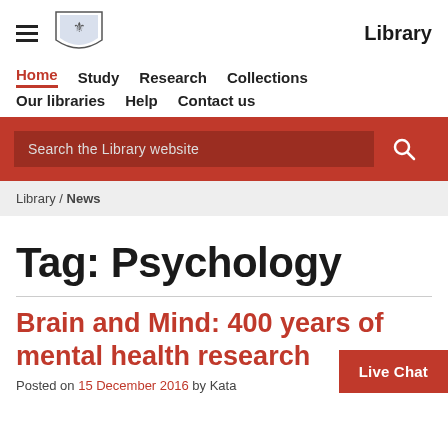The University of Sydney — Library
Home | Study | Research | Collections | Our libraries | Help | Contact us
[Figure (screenshot): Red search bar with placeholder text 'Search the Library website' and a search icon button]
Library / News
Tag: Psychology
Brain and Mind: 400 years of mental health research
Posted on 15 December 2016 by Kata...